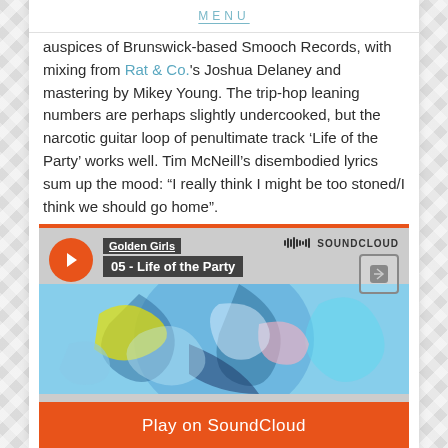MENU
auspices of Brunswick-based Smooch Records, with mixing from Rat & Co.'s Joshua Delaney and mastering by Mikey Young. The trip-hop leaning numbers are perhaps slightly undercooked, but the narcotic guitar loop of penultimate track ‘Life of the Party’ works well. Tim McNeill’s disembodied lyrics sum up the mood: “I really think I might be too stoned/I think we should go home”.
[Figure (screenshot): SoundCloud embedded music player showing 'Golden Girls - 05 - Life of the Party' with abstract blue painting artwork, play button, SoundCloud logo, and 'Play on SoundCloud' orange button at bottom.]